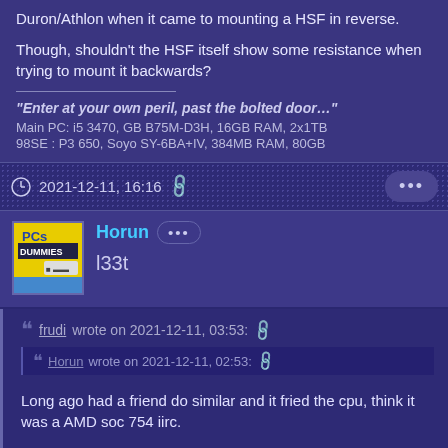Duron/Athlon when it came to mounting a HSF in reverse.
Though, shouldn't the HSF itself show some resistance when trying to mount it backwards?
"Enter at your own peril, past the bolted door…"
Main PC: i5 3470, GB B75M-D3H, 16GB RAM, 2x1TB
98SE : P3 650, Soyo SY-6BA+IV, 384MB RAM, 80GB
2021-12-11, 16:16
Horun
l33t
frudi wrote on 2021-12-11, 03:53:
Horun wrote on 2021-12-11, 02:53:
Long ago had a friend do similar and it fried the cpu, think it was a AMD soc 754 iirc.